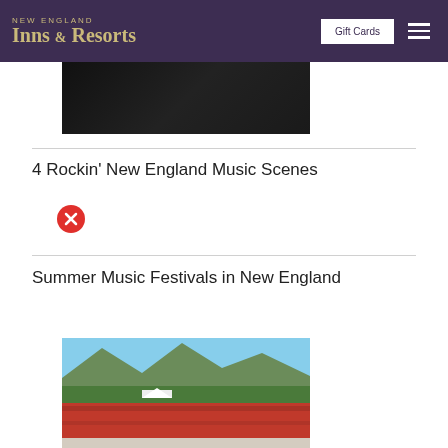New England Inns & Resorts | Gift Cards
[Figure (photo): Dark partial image at top, partially visible photo]
4 Rockin' New England Music Scenes
[Figure (photo): Broken/missing image icon (red circle with X)]
Summer Music Festivals in New England
[Figure (photo): Aerial photo of outdoor music festival with mountains, forest, and large crowd in foreground]